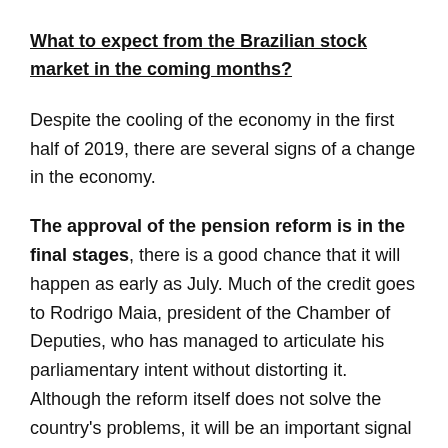What to expect from the Brazilian stock market in the coming months?
Despite the cooling of the economy in the first half of 2019, there are several signs of a change in the economy.
The approval of the pension reform is in the final stages, there is a good chance that it will happen as early as July. Much of the credit goes to Rodrigo Maia, president of the Chamber of Deputies, who has managed to articulate his parliamentary intent without distorting it. Although the reform itself does not solve the country's problems, it will be an important signal for local and foreign investors.